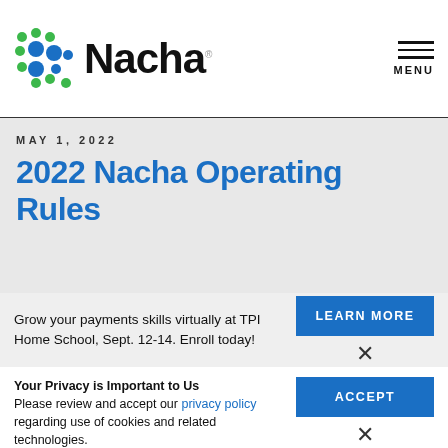[Figure (logo): Nacha logo with green and blue dot pattern on left, bold 'Nacha' text on right]
MENU
MAY 1, 2022
2022 Nacha Operating Rules
Grow your payments skills virtually at TPI Home School, Sept. 12-14. Enroll today!
LEARN MORE
Your Privacy is Important to Us
Please review and accept our privacy policy regarding use of cookies and related technologies.
ACCEPT